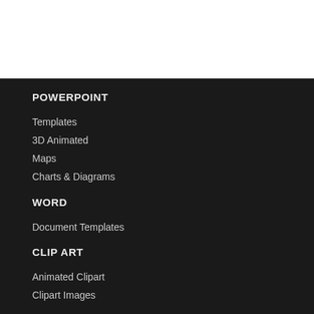POWERPOINT
Templates
3D Animated
Maps
Charts & Diagrams
WORD
Document Templates
CLIP ART
Animated Clipart
Clipart Images
FREE